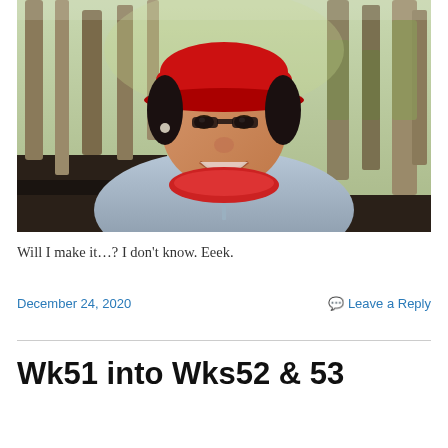[Figure (photo): Selfie of a smiling person wearing a red visor cap and light blue zip-up jacket with a red neck gaiter, taken outdoors in a woodland path with tall bare trees and green moss-covered bark in the background, winter daylight.]
Will I make it…? I don't know. Eeek.
December 24, 2020
Leave a Reply
Wk51 into Wks52 & 53